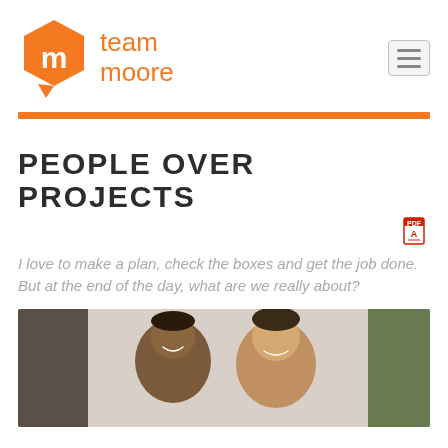[Figure (logo): Team Moore logo: orange hexagon-shaped speech bubble icon with white 'm', next to orange text reading 'team moore']
PEOPLE OVER PROJECTS
[Figure (other): Small red Adobe PDF icon]
I love to make a plan, check the boxes and get the job done. But at the end of the day, what are we really about?
[Figure (photo): Photo of two men smiling, cropped showing their faces and upper bodies]